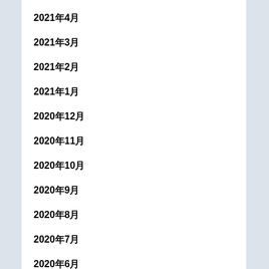2021年4月
2021年3月
2021年2月
2021年1月
2020年12月
2020年11月
2020年10月
2020年9月
2020年8月
2020年7月
2020年6月